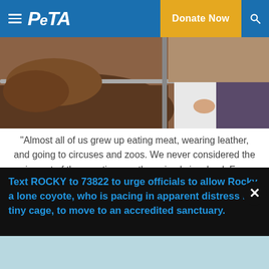PETA — Donate Now
[Figure (photo): Close-up of a brown animal (likely a cow or horse) behind a metal railing, with a person in a white shirt visible in the background.]
“Almost all of us grew up eating meat, wearing leather, and going to circuses and zoos. We never considered the impact of these actions on the animals involved. For whatever reason, you are now asking the question: Why should animals have rights?” READ MORE
— Ingrid E. Newkirk, PETA President and co-author of Animalkind
Text ROCKY to 73822 to urge officials to allow Rocky a lone coyote, who is pacing in apparent distress in a tiny cage, to move to an accredited sanctuary.